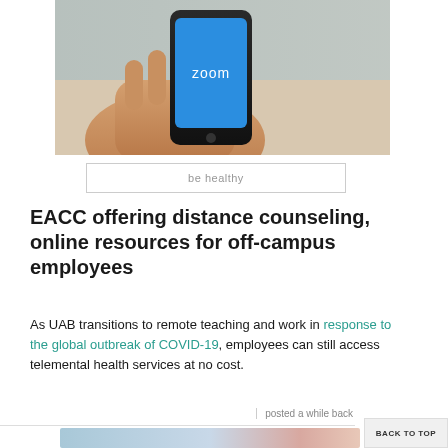[Figure (photo): Hand holding a smartphone displaying the Zoom app logo on a blue screen]
be healthy
EACC offering distance counseling, online resources for off-campus employees
As UAB transitions to remote teaching and work in response to the global outbreak of COVID-19, employees can still access telemental health services at no cost.
posted a while back
BACK TO TOP